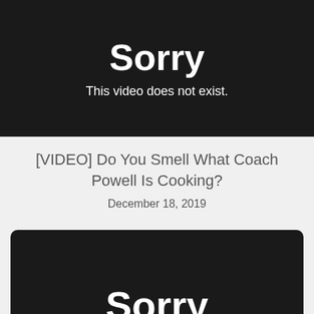[Figure (screenshot): Black video player area showing 'Sorry' in large white bold text and 'This video does not exist.' below it in white]
[VIDEO] Do You Smell What Coach Powell Is Cooking?
December 18, 2019
[Figure (screenshot): Black video player area (bottom portion) showing 'Sorry' in large white bold text, partially visible]